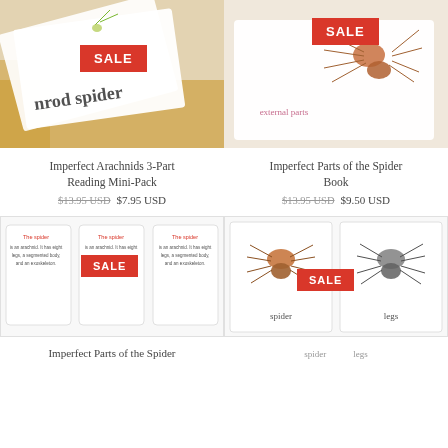[Figure (photo): Photo of Arachnids 3-Part Reading Mini-Pack cards fanned out on a yellow/gold knitted fabric, with a red SALE badge overlay]
[Figure (photo): Photo of Parts of the Spider Book flashcards showing spider anatomy with 'external parts' label, with a red SALE badge overlay]
Imperfect Arachnids 3-Part Reading Mini-Pack
$13.95 USD  $7.95 USD
Imperfect Parts of the Spider Book
$13.95 USD  $9.50 USD
[Figure (photo): Photo of Parts of the Spider reading cards (three-part cards with text about spiders), with red SALE badge overlay]
[Figure (photo): Photo of spider nomenclature cards showing two spiders with labels 'spider' and 'legs', with red SALE badge overlay]
Imperfect Parts of the Spider